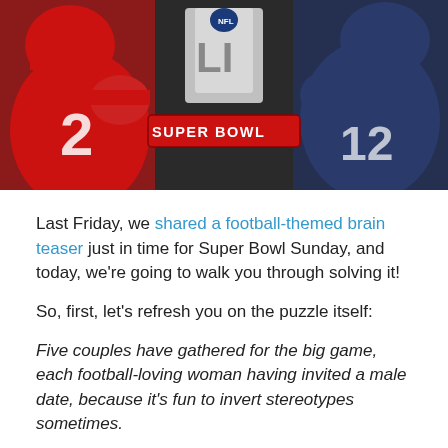[Figure (photo): Super Bowl LI promotional image showing two NFL quarterbacks (one in red Falcons jersey #2, one in blue/grey Patriots jersey) flanking the NFL Super Bowl LI logo with 'SUPER BOWL' text on a red banner]
Last Friday, we shared a football-themed brain teaser just in time for Super Bowl Sunday, and today, we're going to walk you through solving it!
So, first, let's refresh you on the puzzle itself:
Five couples have gathered for the big game, each football-loving woman having invited a male date, because it's fun to invert stereotypes sometimes.
The women are Amanda, Evelyn, Janice, Rhianna, and Sue, and the men are Bill, Cory, Mack, Ted, and Walter.
Each couple brought a different snack: Doritos, Pringles...